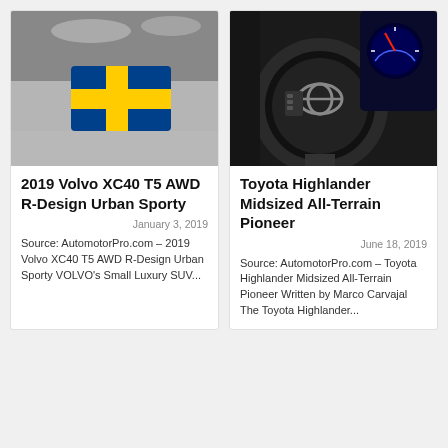[Figure (photo): Close-up of a Volvo car body showing a blue and yellow Swedish cross emblem on a grey surface]
2019 Volvo XC40 T5 AWD R-Design Urban Sporty
January 3, 2019
Source: AutomotorPro.com – 2019 Volvo XC40 T5 AWD R-Design Urban Sporty VOLVO's Small Luxury SUV...
[Figure (photo): Close-up of a Toyota Highlander steering wheel and dashboard with instrument cluster visible]
Toyota Highlander Midsized All-Terrain Pioneer
June 18, 2019
Source: AutomotorPro.com – Toyota Highlander Midsized All-Terrain Pioneer Written by Marco Carvajal The Toyota Highlander...